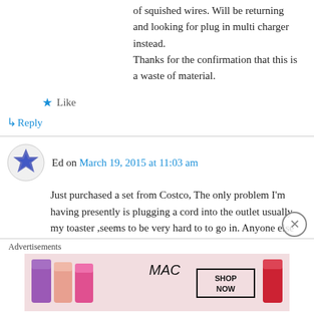of squished wires. Will be returning and looking for plug in multi charger instead.
Thanks for the confirmation that this is a waste of material.
★ Like
↳ Reply
Ed on March 19, 2015 at 11:03 am
Just purchased a set from Costco, The only problem I'm having presently is plugging a cord into the outlet usually my toaster ,seems to be very hard to to go in. Anyone else find this
Advertisements
[Figure (photo): MAC cosmetics advertisement banner showing lipsticks with 'SHOP NOW' text]